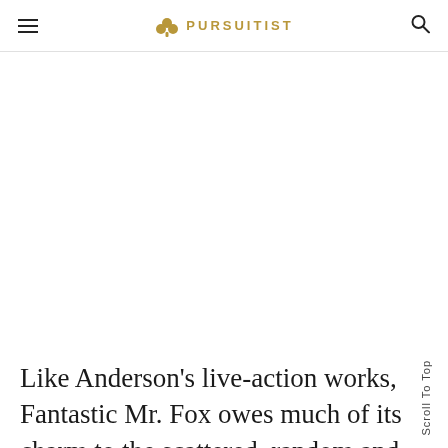☰ ❀ PURSUITIST 🔍
[Figure (other): Large blank white content area (image placeholder)]
Like Anderson's live-action works, Fantastic Mr. Fox owes much of its charm to the scattered, random and quirky nature of the